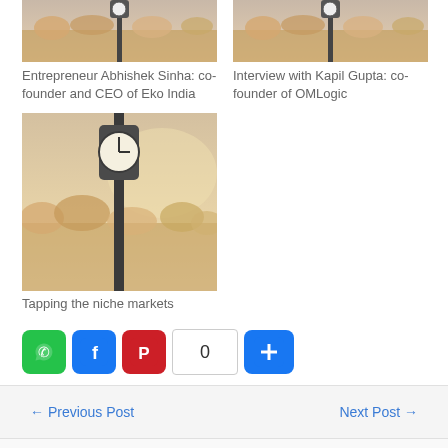[Figure (photo): Thumbnail image of clock on pole with autumn flowers - top left]
Entrepreneur Abhishek Sinha: co-founder and CEO of Eko India
[Figure (photo): Thumbnail image of clock on pole with autumn flowers - top right]
Interview with Kapil Gupta: co-founder of OMLogic
[Figure (photo): Larger image of clock on pole with warm hazy sky background]
Tapping the niche markets
[Figure (infographic): Social share buttons: WhatsApp, Facebook, Pinterest, count 0, plus/more button]
← Previous Post
Next Post →
Leave a Reply